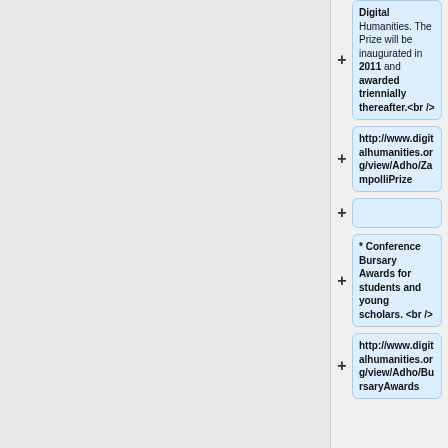Digital Humanities. The Prize will be inaugurated in 2011 and awarded triennially thereafter.<br />
http://www.digitalhumanities.org/view/Adho/ZampolliPrize
* Conference Bursary Awards for students and young scholars.<br />
http://www.digitalhumanities.org/view/Adho/BursaryAwards